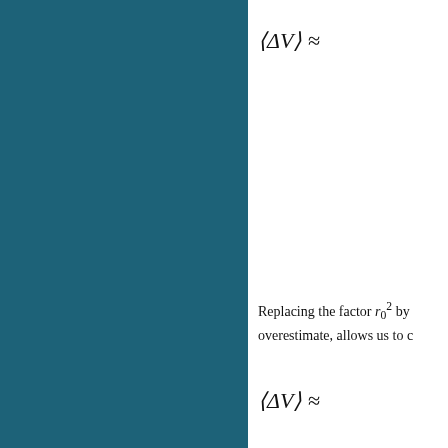Replacing the factor r_0^2 by ... overestimate, allows us to c...